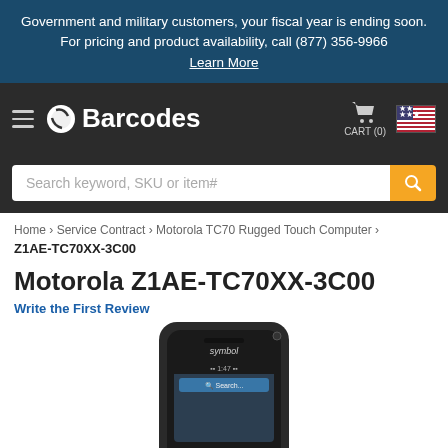Government and military customers, your fiscal year is ending soon. For pricing and product availability, call (877) 356-9966
Learn More
[Figure (logo): Barcodes Inc logo with navigation bar, cart icon, and US flag]
Search keyword, SKU or item#
Home › Service Contract › Motorola TC70 Rugged Touch Computer ›
Z1AE-TC70XX-3C00
Motorola Z1AE-TC70XX-3C00
Write the First Review
[Figure (photo): Motorola TC70 rugged touch computer device showing front face with Symbol branding and touchscreen display]